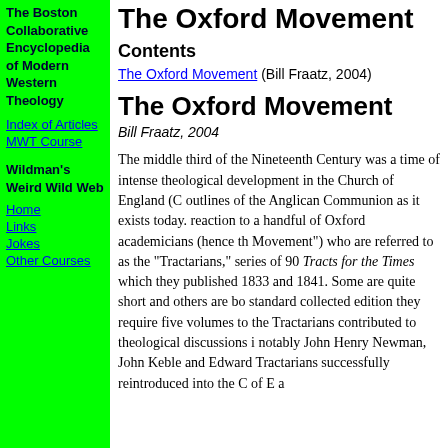The Boston Collaborative Encyclopedia of Modern Western Theology
Index of Articles
MWT Course
Wildman's Weird Wild Web
Home
Links
Jokes
Other Courses
The Oxford Movement
Contents
The Oxford Movement (Bill Fraatz, 2004)
The Oxford Movement
Bill Fraatz, 2004
The middle third of the Nineteenth Century was a time of intense theological development in the Church of England (C of E) that shaped the outlines of the Anglican Communion as it exists today. This development was a reaction to a handful of Oxford academicians (hence the name "Oxford Movement") who are referred to as the "Tractarians," after the series of 90 Tracts for the Times which they published between 1833 and 1841. Some are quite short and others are book-length; in the standard collected edition they require five volumes to contain. These Tractarians contributed to theological discussions in many ways, most notably John Henry Newman, John Keble and Edward Pusey. The Tractarians successfully reintroduced into the C of E a